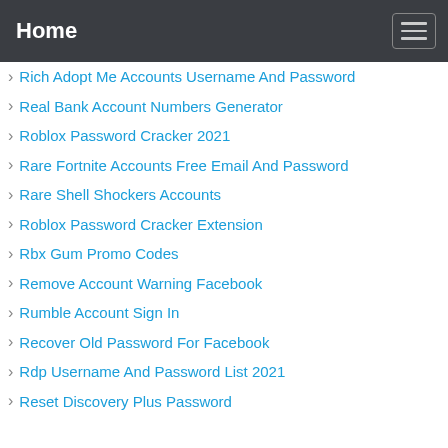Home
Rich Adopt Me Accounts Username And Password
Real Bank Account Numbers Generator
Roblox Password Cracker 2021
Rare Fortnite Accounts Free Email And Password
Rare Shell Shockers Accounts
Roblox Password Cracker Extension
Rbx Gum Promo Codes
Remove Account Warning Facebook
Rumble Account Sign In
Recover Old Password For Facebook
Rdp Username And Password List 2021
Reset Discovery Plus Password